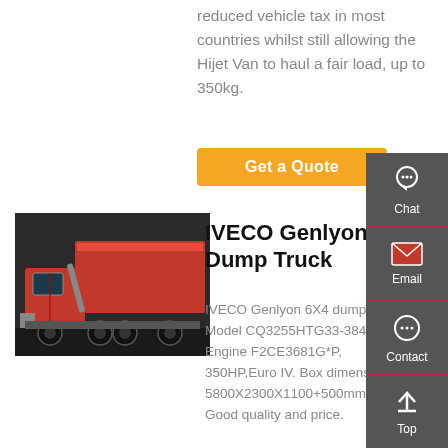reduced vehicle tax in most countries whilst still allowing the Hijet Van to haul a fair load, up to 350kg.
Get a Quote
[Figure (photo): Red IVECO Genlyon 6X4 dump truck photographed from the side/front angle]
IVECO Genlyon 6X4 Dump Truck
IVECO Genlyon 6X4 dump truck, Model CQ3255HTG33-384, Engine F2CE3681G*P, 350HP,Euro IV. Box dimension 5800X2300X1100+500mm (21m3) Good quality and price.